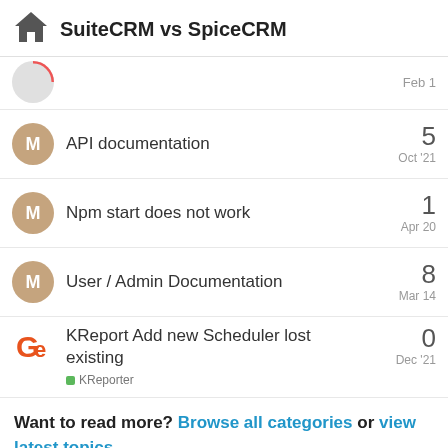SuiteCRM vs SpiceCRM
Feb 1
API documentation — 5 — Oct '21
Npm start does not work — 1 — Apr 20
User / Admin Documentation — 8 — Mar 14
KReport Add new Scheduler lost existing — KReporter — 0 — Dec '21
Want to read more? Browse all categories or view latest topics.